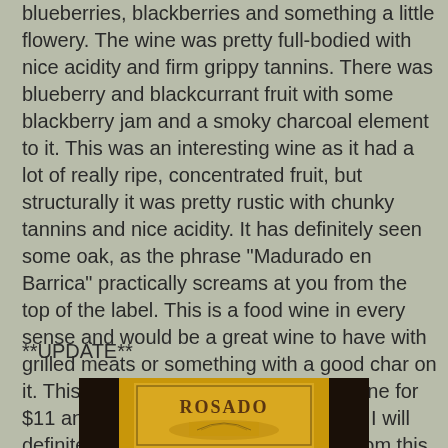blueberries, blackberries and something a little flowery.  The wine was pretty full-bodied with nice acidity and firm grippy tannins.  There was blueberry and blackcurrant fruit with some blackberry jam and a smoky charcoal element to it.  This was an interesting wine as it had a lot of really ripe, concentrated fruit, but structurally it was pretty rustic with chunky tannins and nice acidity.  It has definitely seen some oak, as the phrase "Madurado en Barrica" practically screams at you from the top of the label.  This is a food wine in every sense and would be a great wine to have with grilled meats or something with a good char on it.  This is really an excellent bottle of wine for $11 and is a pretty exciting find for me.  I will definitely seek out more wines made from this grape and this region because if they're even close to the quality here, they represent one of the great wine values in the world right now.
**UPDATE**
[Figure (photo): Photo of a wine bottle label showing 'ROSADO' text on a yellow/golden label]